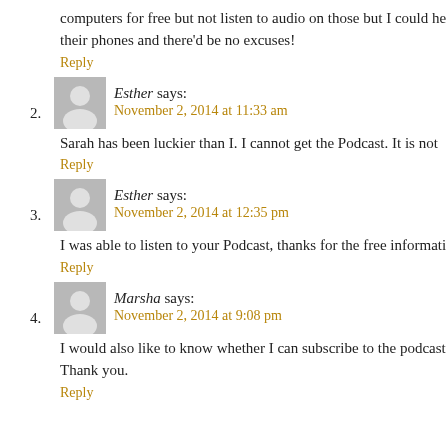computers for free but not listen to audio on those but I could he their phones and there'd be no excuses!
Reply
2. Esther says: November 2, 2014 at 11:33 am
Sarah has been luckier than I. I cannot get the Podcast. It is not
Reply
3. Esther says: November 2, 2014 at 12:35 pm
I was able to listen to your Podcast, thanks for the free informati
Reply
4. Marsha says: November 2, 2014 at 9:08 pm
I would also like to know whether I can subscribe to the podcast Thank you.
Reply